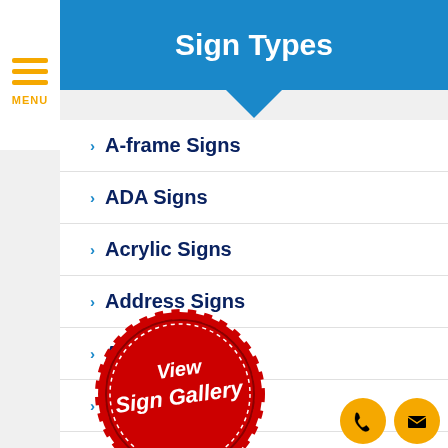[Figure (screenshot): Mobile website UI screenshot showing Sign Types navigation menu with hamburger menu icon labeled MENU on top left, blue header bar with title Sign Types, and a list of sign category links]
Sign Types
A-frame Signs
ADA Signs
Acrylic Signs
Address Signs
Awning Signs
Banners
Blade Signs
[Figure (illustration): Red circular badge with scalloped edge reading 'View Sign Gallery' in white italic script with a gold ribbon banner at the bottom saying CLICK HERE]